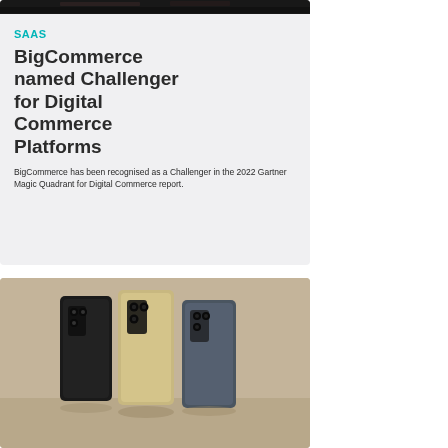[Figure (photo): Dark background image at top of card]
SAAS
BigCommerce named Challenger for Digital Commerce Platforms
BigCommerce has been recognised as a Challenger in the 2022 Gartner Magic Quadrant for Digital Commerce report.
[Figure (photo): Three Samsung foldable phones in black, cream/gold, and grey colorways displayed on a neutral background]